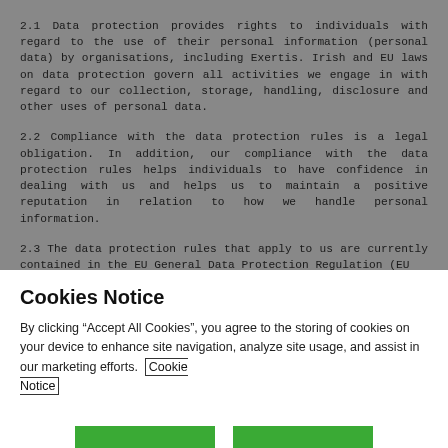2.1 Data protection provides rights to individuals with regard to the use of their personal information (personal data) by organisations, including Exertis. Irish and EU laws on data protection govern all activities we engage in with regard to our collection, storage, handling, disclosure and other uses of personal data.
2.2 Compliance with the data protection rules is a legal obligation. In addition, our compliance with the data protection rules helps individuals to have confidence in dealing with us and helps us to maintain a positive reputation in relation to how we handle personal information.
2.3 The data protection rules that apply to us are currently contained in the EU General Data Protection Regulation (EU
Cookies Notice
By clicking “Accept All Cookies”, you agree to the storing of cookies on your device to enhance site navigation, analyze site usage, and assist in our marketing efforts.  Cookie Notice